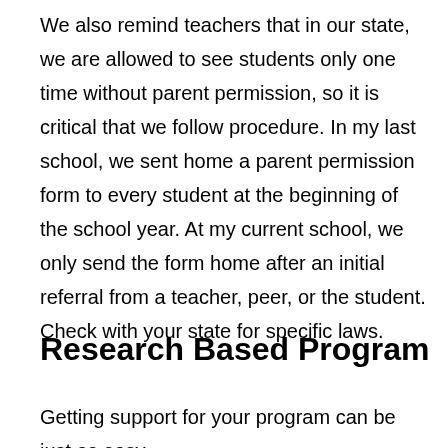We also remind teachers that in our state, we are allowed to see students only one time without parent permission, so it is critical that we follow procedure. In my last school, we sent home a parent permission form to every student at the beginning of the school year. At my current school, we only send the form home after an initial referral from a teacher, peer, or the student. Check with your state for specific laws.
Research Based Program
Getting support for your program can be just as easy